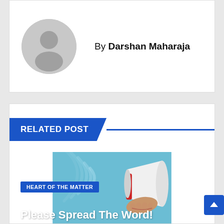By Darshan Maharaja
RELATED POST
[Figure (illustration): Illustration of a hand holding a megaphone/bullhorn with sound waves, on a light blue background]
HEART OF THE MATTER
Please Spread The Word!